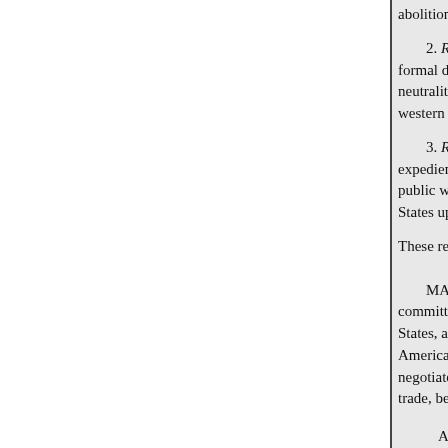abolition of the slave trade.
2. Resolved further, That the R... formal declaration with the seve... neutrality of any colony of the fr... western coast of Africa.
3. Resolved further, That the R... expedient to make of the public s... public welfare, to the efforts of t... States upon the Western coast of...
These resolutions were committe...
MAY 12th, 1820. Mr. Edward... committed the bill to continue in... States, and to punish the crime o... American Colonization Society, ... negotiate with foreign governme... trade, be discharged from the fu...
And the question being take... It passed in the affirmative. Mr. Edwards then moved th... A division of the question o...